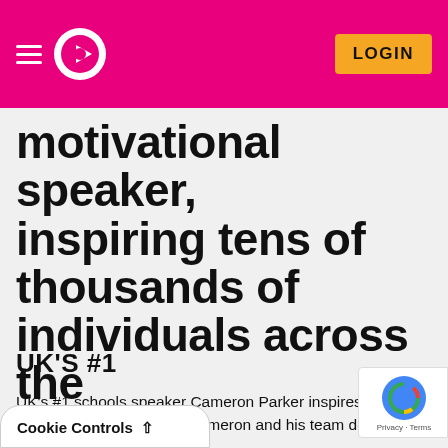LOGIN
motivational speaker, inspiring tens of thousands of individuals across the country.
UK'S #1
UK's #1 schools speaker Cameron Parker inspires all around the UK. 80% of the work Cameron and his team do are in schools and colleges, supporting students on their educational journey.